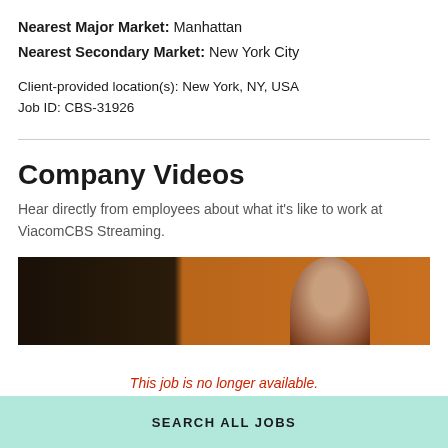Nearest Major Market: Manhattan
Nearest Secondary Market: New York City
Client-provided location(s): New York, NY, USA
Job ID: CBS-31926
Company Videos
Hear directly from employees about what it's like to work at ViacomCBS Streaming.
[Figure (photo): Video thumbnail showing a person against an orange/brown background, partially visible]
This job is no longer available.
SEARCH ALL JOBS